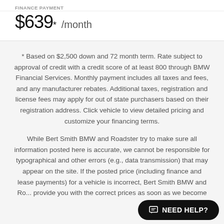FINANCE PAYMENT
$639* /month
* Based on $2,500 down and 72 month term. Rate subject to approval of credit with a credit score of at least 800 through BMW Financial Services. Monthly payment includes all taxes and fees, and any manufacturer rebates. Additional taxes, registration and license fees may apply for out of state purchasers based on their registration address. Click vehicle to view detailed pricing and customize your financing terms.
While Bert Smith BMW and Roadster try to make sure all information posted here is accurate, we cannot be responsible for typographical and other errors (e.g., data transmission) that may appear on the site. If the posted price (including finance and lease payments) for a vehicle is incorrect, Bert Smith BMW and Ro... provide you with the correct prices as soon as we become